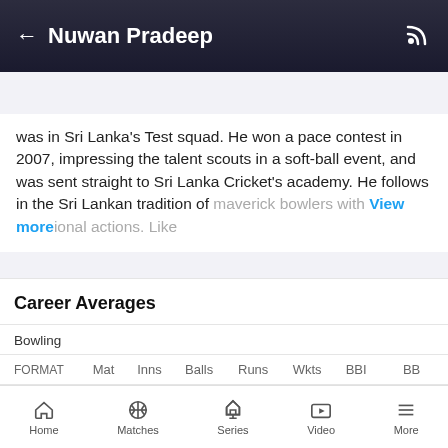Nuwan Pradeep
Overview  Stats  Records  Matches  Videos  News  Photos
was in Sri Lanka's Test squad. He won a pace contest in 2007, impressing the talent scouts in a soft-ball event, and was sent straight to Sri Lanka Cricket's academy. He follows in the Sri Lankan tradition of maverick bowlers with View more ional actions. Like
Career Averages
Bowling
| FORMAT | Mat | Inns | Balls | Runs | Wkts | BBI | BB |
| --- | --- | --- | --- | --- | --- | --- | --- |
| Test | 28 | 53 | 5077 | 3003 | 70 | 6/132 | 7/1... |
| ODI | 49 | 47 | 2345 | 2339 | 63 | 4/31 | 4/... |
Home  Matches  Series  Video  More